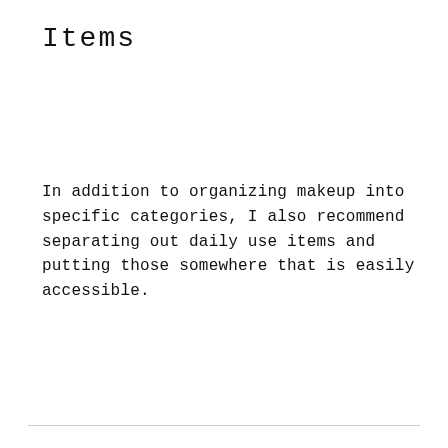Items
In addition to organizing makeup into specific categories, I also recommend separating out daily use items and putting those somewhere that is easily accessible.